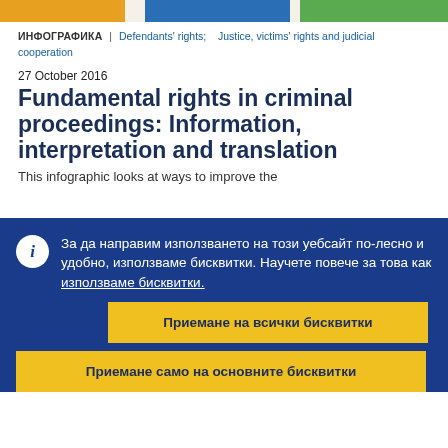[Figure (infographic): Colorful top banner strip with orange, white, blue, white, and green sections]
ИНФОГРАФИКА | Defendants' rights; Justice, victims' rights and judicial cooperation
27 October 2016
Fundamental rights in criminal proceedings: Information, interpretation and translation
This infographic looks at ways to improve the
За да направим използването на този уебсайт по-лесно и удобно, използваме бисквитки. Научете повече за това как използваме бисквитки.
Приемане на всички бисквитки
Приемане само на основните бисквитки